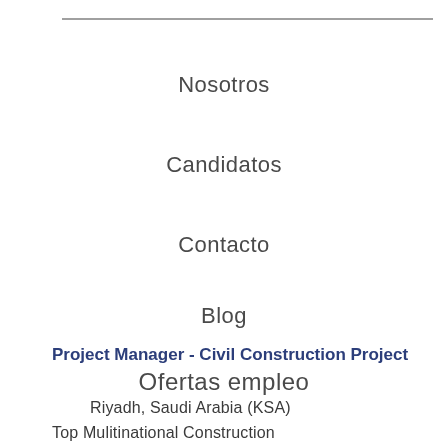Nosotros
Candidatos
Contacto
Blog
Ofertas empleo
Project Manager - Civil Construction Project
Riyadh, Saudi Arabia (KSA)
Top Mulitinational Construction